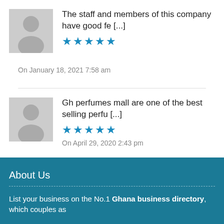The staff and members of this company have good fe [...]
★★★★★
On January 18, 2021 7:58 am
Gh perfumes mall are one of the best selling perfu [...]
★★★★★
On April 29, 2020 2:43 pm
About Us
List your business on the No.1 Ghana business directory, which couples as